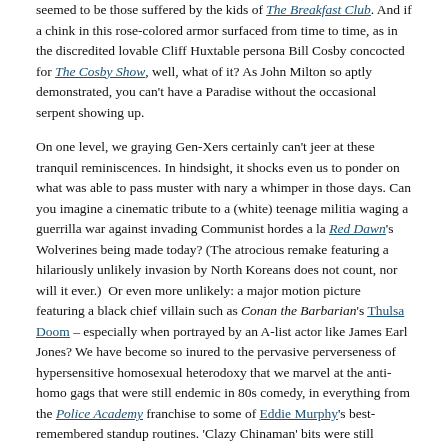seemed to be those suffered by the kids of The Breakfast Club. And if a chink in this rose-colored armor surfaced from time to time, as in the discredited lovable Cliff Huxtable persona Bill Cosby concocted for The Cosby Show, well, what of it? As John Milton so aptly demonstrated, you can't have a Paradise without the occasional serpent showing up.
On one level, we graying Gen-Xers certainly can't jeer at these tranquil reminiscences. In hindsight, it shocks even us to ponder on what was able to pass muster with nary a whimper in those days. Can you imagine a cinematic tribute to a (white) teenage militia waging a guerrilla war against invading Communist hordes a la Red Dawn's Wolverines being made today? (The atrocious remake featuring a hilariously unlikely invasion by North Koreans does not count, nor will it ever.)  Or even more unlikely: a major motion picture featuring a black chief villain such as Conan the Barbarian's Thulsa Doom – especially when portrayed by an A-list actor like James Earl Jones? We have become so inured to the pervasive perverseness of hypersensitive homosexual heterodoxy that we marvel at the anti-homo gags that were still endemic in 80s comedy, in everything from the Police Academy franchise to some of Eddie Murphy's best-remembered standup routines. 'Clazy Chinaman' bits were still prevalent (Sixteen Candles, anyone?), and no one wrote indignant letters to the editor about it, save a few irritable Tong members in San Francisco. Those remaining cultural tendrils of a civilization that once was even resulted in the ultimate unthinkable – Christian subtexts in children's programming! It's amazing enough that the comic strip B.C. had